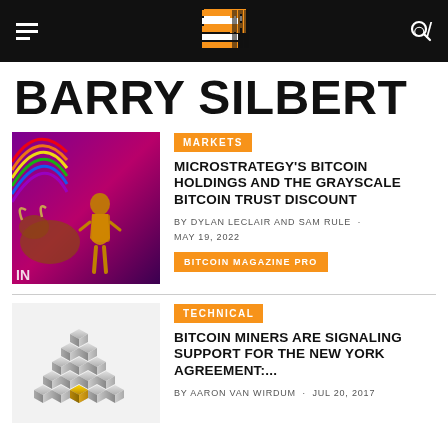Bitcoin Magazine — Barry Silbert
BARRY SILBERT
[Figure (illustration): Fearless Girl and Charging Bull statues with rainbow and neon purple/pink background, Bitcoin magazine article thumbnail]
MARKETS
MICROSTRATEGY'S BITCOIN HOLDINGS AND THE GRAYSCALE BITCOIN TRUST DISCOUNT
BY DYLAN LECLAIR AND SAM RULE · MAY 19, 2022
BITCOIN MAGAZINE PRO
[Figure (illustration): A pyramid of silver/grey cubes with a single gold cube at the base, representing Bitcoin mining or block building.]
TECHNICAL
BITCOIN MINERS ARE SIGNALING SUPPORT FOR THE NEW YORK AGREEMENT:...
BY AARON VAN WIRDUM · JUL 20, 2017